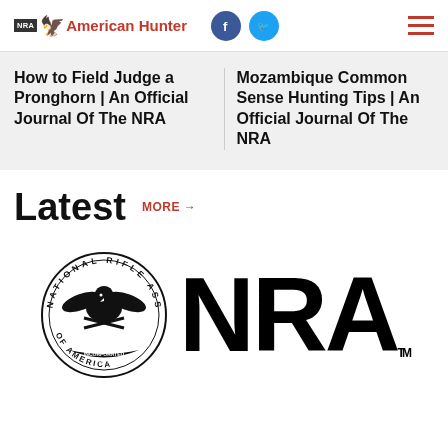NRA American Hunter
How to Field Judge a Pronghorn | An Official Journal Of The NRA
Mozambique Common Sense Hunting Tips | An Official Journal Of The NRA
Latest MORE →
[Figure (logo): NRA National Rifle Association of America seal/crest logo alongside large NRA wordmark with TM]